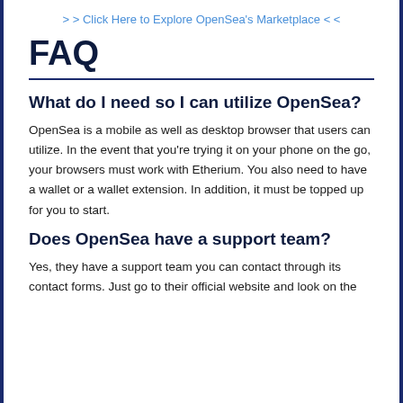> > Click Here to Explore OpenSea's Marketplace < <
FAQ
What do I need so I can utilize OpenSea?
OpenSea is a mobile as well as desktop browser that users can utilize. In the event that you're trying it on your phone on the go, your browsers must work with Etherium. You also need to have a wallet or a wallet extension. In addition, it must be topped up for you to start.
Does OpenSea have a support team?
Yes, they have a support team you can contact through its contact forms. Just go to their official website and look on the